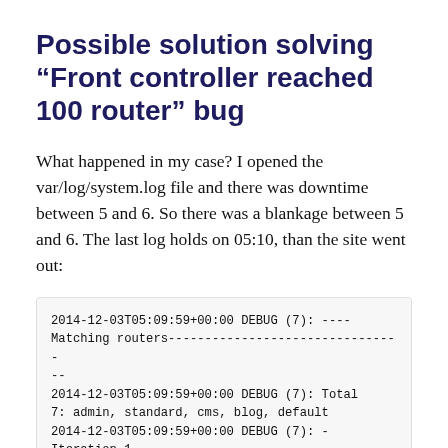Possible solution solving “Front controller reached 100 router” bug
What happened in my case? I opened the var/log/system.log file and there was downtime between 5 and 6. So there was a blankage between 5 and 6. The last log holds on 05:10, than the site went out:
2014-12-03T05:09:59+00:00 DEBUG (7): ----Matching routers--------------------------------
--
2014-12-03T05:09:59+00:00 DEBUG (7): Total 7: admin, standard, cms, blog, default
2014-12-03T05:09:59+00:00 DEBUG (7): -Iteration 1
2014-12-03T05:09:59+00:00 DEBUG (7): Request: [path_info=/admin/][module=]
[action=][controller=][controller_module=]